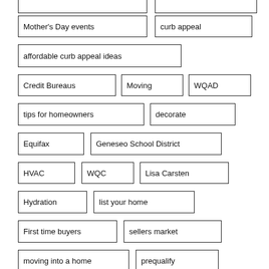Mother's Day events
curb appeal
affordable curb appeal ideas
Credit Bureaus
Moving
WQAD
tips for homeowners
decorate
Equifax
Geneseo School District
HVAC
WQC
Lisa Carsten
Hydration
list your home
First time buyers
sellers market
moving into a home
prequalify